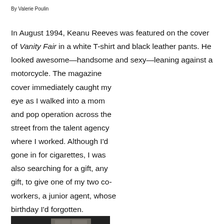By Valerie Poulin
In August 1994, Keanu Reeves was featured on the cover of Vanity Fair in a white T-shirt and black leather pants. He looked awesome—handsome and sexy—leaning against a motorcycle. The magazine cover immediately caught my eye as I walked into a mom and pop operation across the street from the talent agency where I worked. Although I'd gone in for cigarettes, I was also searching for a gift, any gift, to give one of my two co-workers, a junior agent, whose birthday I'd forgotten.
[Figure (photo): Keanu Reeves in a white T-shirt and black leather pants leaning against a motorcycle, Vanity Fair August 1994 cover photo]